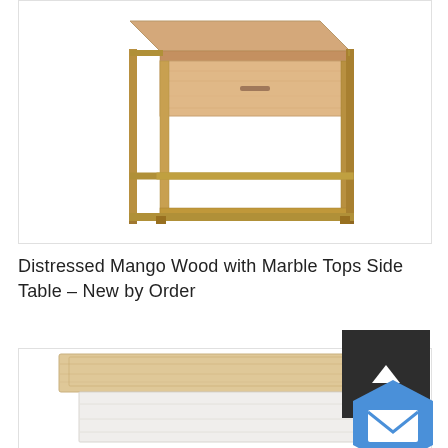[Figure (photo): Product photo of a distressed mango wood side table with metal frame structure, shown at an angle. The table has a warm tan/brown wood top with a drawer and sits on a gold/brass colored rectangular metal frame.]
Distressed Mango Wood with Marble Tops Side Table – New by Order
[Figure (photo): Partial product photo of another side table, showing a light wood top with white/marble lower section, cropped at the bottom of the page.]